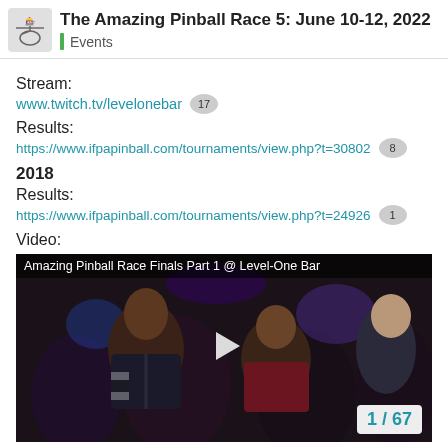The Amazing Pinball Race 5: June 10-12, 2022 | Events
Stream:
www.twitch.tv/levelonebar 17
Results:
https://www.ifpapinball.com/tournaments/view.php?t=30802 8
2018
Results:
https://www.ifpapinball.com/tournaments/view.php?t=24926 1
Video:
[Figure (screenshot): Video thumbnail showing crowd at Amazing Pinball Race Finals Part 1 @ Level-One Bar with play button and page counter 1/67]